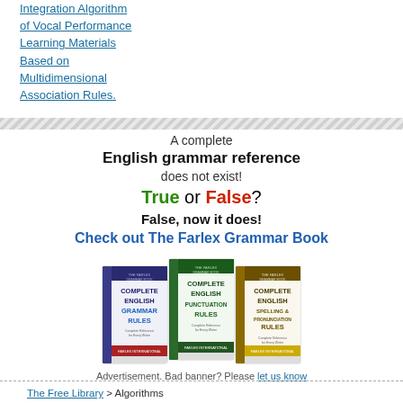Integration Algorithm of Vocal Performance Learning Materials Based on Multidimensional Association Rules.
[Figure (illustration): Three books: Complete English Grammar Rules, Complete English Punctuation Rules, Complete English Spelling & Pronunciation Rules]
A complete
English grammar reference
does not exist!
True or False?
False, now it does!
Check out The Farlex Grammar Book
Advertisement. Bad banner? Please let us know
The Free Library > Algorithms